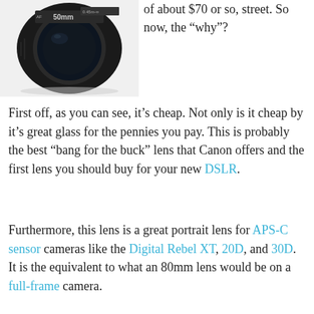[Figure (photo): Canon 50mm lens, black, shown at an angle against white background]
of about $70 or so, street. So now, the “why”?
First off, as you can see, it’s cheap. Not only is it cheap by it’s great glass for the pennies you pay. This is probably the best “bang for the buck” lens that Canon offers and the first lens you should buy for your new DSLR.
Furthermore, this lens is a great portrait lens for APS-C sensor cameras like the Digital Rebel XT, 20D, and 30D. It is the equivalent to what an 80mm lens would be on a full-frame camera.
I won’t rehash what others more knowledgeable than me have said about this lens. Below are some links for your reading pleasure which reinforce the points I’ve made.